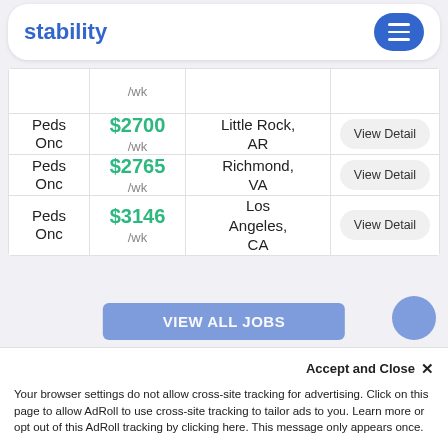stability
| Specialty | Rate | Location | Action |
| --- | --- | --- | --- |
| Peds Onc | $2700 /wk | Little Rock, AR | View Detail |
| Peds Onc | $2765 /wk | Richmond, VA | View Detail |
| Peds Onc | $3146 /wk | Los Angeles, CA | View Detail |
VIEW ALL JOBS
Accept and Close ×
Your browser settings do not allow cross-site tracking for advertising. Click on this page to allow AdRoll to use cross-site tracking to tailor ads to you. Learn more or opt out of this AdRoll tracking by clicking here. This message only appears once.